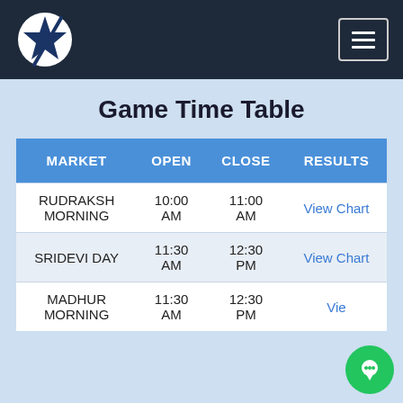Game Time Table — site header with logo and hamburger menu
Game Time Table
| MARKET | OPEN | CLOSE | RESULTS |
| --- | --- | --- | --- |
| RUDRAKSH MORNING | 10:00 AM | 11:00 AM | View Chart |
| SRIDEVI DAY | 11:30 AM | 12:30 PM | View Chart |
| MADHUR MORNING | 11:30 AM | 12:30 PM | View Chart |